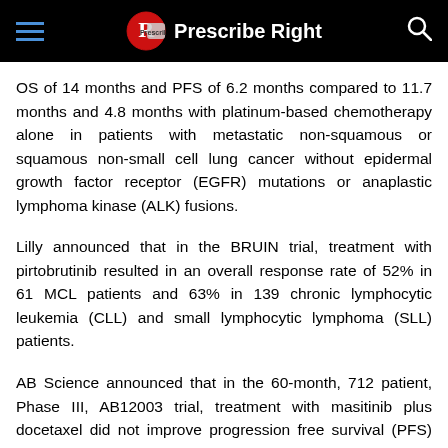Prescribe Right
OS of 14 months and PFS of 6.2 months compared to 11.7 months and 4.8 months with platinum-based chemotherapy alone in patients with metastatic non-squamous or squamous non-small cell lung cancer without epidermal growth factor receptor (EGFR) mutations or anaplastic lymphoma kinase (ALK) fusions.
Lilly announced that in the BRUIN trial, treatment with pirtobrutinib resulted in an overall response rate of 52% in 61 MCL patients and 63% in 139 chronic lymphocytic leukemia (CLL) and small lymphocytic lymphoma (SLL) patients.
AB Science announced that in the 60-month, 712 patient, Phase III, AB12003 trial, treatment with masitinib plus docetaxel did not improve progression free survival (PFS) compared to docetaxel alone in the overall population of patients with